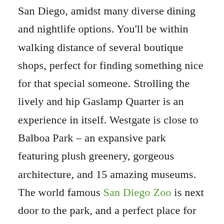San Diego, amidst many diverse dining and nightlife options. You'll be within walking distance of several boutique shops, perfect for finding something nice for that special someone. Strolling the lively and hip Gaslamp Quarter is an experience in itself. Westgate is close to Balboa Park – an expansive park featuring plush greenery, gorgeous architecture, and 15 amazing museums. The world famous San Diego Zoo is next door to the park, and a perfect place for family fun – check out everyone's favorite, the Panda exhibit. Little Italy and Old Town are two must-see neighborhoods close to the hotel that represent the diverse and historic culture of San Diego. Discover two of San Diego's famous beaches, Mission and Pacific Beaches, as well as SeaWorld, just a short drive from the hotel, for an entirely different San Diego experience.